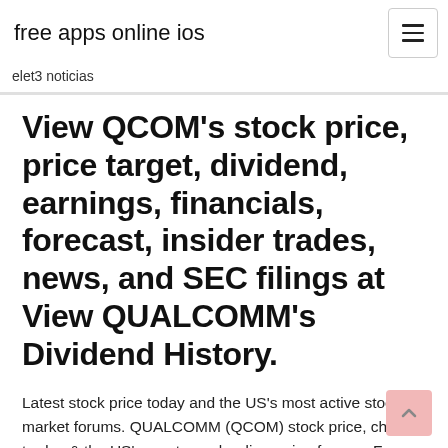free apps online ios
elet3 noticias
View QCOM's stock price, price target, dividend, earnings, financials, forecast, insider trades, news, and SEC filings at View QUALCOMM's Dividend History.
Latest stock price today and the US's most active stock market forums. QUALCOMM (QCOM) stock price, charts, trades & the US's most popular discussion forums. Free forex prices, toplists, indices and lots more.